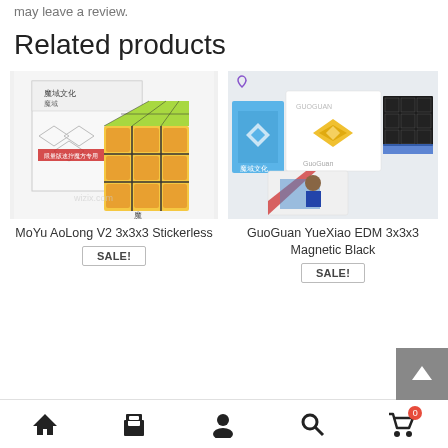may leave a review.
Related products
[Figure (photo): MoYu AoLong V2 3x3x3 Stickerless cube product photo with box]
MoYu AoLong V2 3x3x3 Stickerless
SALE!
[Figure (photo): GuoGuan YueXiao EDM 3x3x3 Magnetic Black cube product photo with box and accessories]
GuoGuan YueXiao EDM 3x3x3 Magnetic Black
SALE!
Home | Shop | Account | Search | Cart (0)